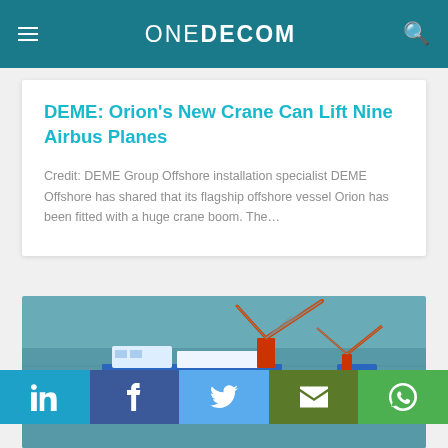ONEDECOM
DEME: Orion's New Crane Can Lift Nine Airbus Planes
Credit: DEME Group Offshore installation specialist DEME Offshore has shared that its flagship offshore vessel Orion has been fitted with a huge crane boom. The…
[Figure (photo): Aerial/3D render of the offshore crane vessel Orion at sea fitted with a large crane boom, shown from above with blue water in the background.]